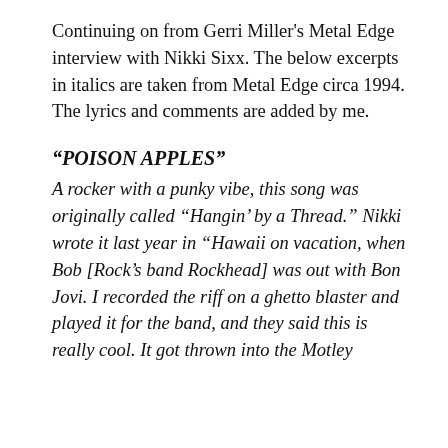Continuing on from Gerri Miller's Metal Edge interview with Nikki Sixx.  The below excerpts in italics are taken from Metal Edge circa 1994.  The lyrics and comments are added by me.
“POISON APPLES”
A rocker with a punky vibe, this song was originally called “Hangin’ by a Thread.” Nikki wrote it last year in “Hawaii on vacation, when Bob [Rock’s band Rockhead] was out with Bon Jovi. I recorded the riff on a ghetto blaster and played it for the band, and they said this is really cool.  It got thrown into the Motley